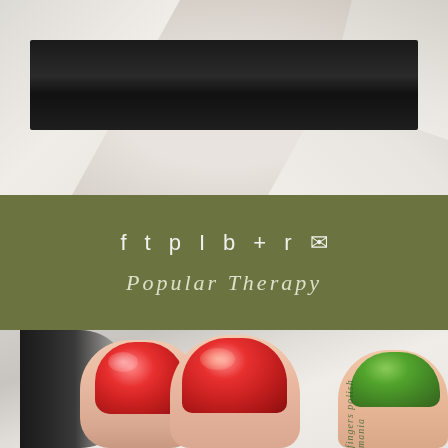[Figure (photo): Photo of a person wearing a white dress/shirt with a wide black satin belt/sash around the waist]
[Figure (infographic): Social media icons bar on olive green background: Facebook, Twitter, Pinterest, Instagram, Bookmark, Plus, RSS, Email icons in white]
Popular Therapy
[Figure (photo): Close-up photo of manicured nails painted with red holographic glitter polish on most fingers and green holographic polish on one finger, with watermark text 'fingers polish mania']